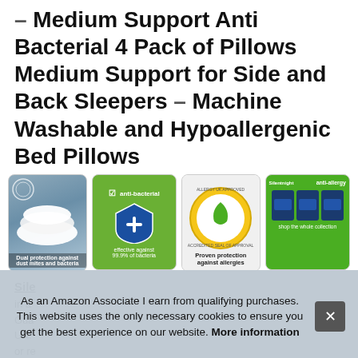– Medium Support Anti Bacterial 4 Pack of Pillows Medium Support for Side and Back Sleepers – Machine Washable and Hypoallergenic Bed Pillows
[Figure (photo): Four product thumbnail images in a row: 1) White pillows on a dark background with text 'Dual protection against dust mites and bacteria'. 2) Green background with a blue shield and plus sign, text 'anti-bacterial' and 'effective against 99.9% of bacteria'. 3) White background with a yellow/gold circular seal with a green leaf, text 'Proven protection against allergies'. 4) Green background with 'anti-allergy' label, product boxes shown, text 'shop the whole collection'.]
Sile... in a... Gua... UK. or re...
As an Amazon Associate I earn from qualifying purchases. This website uses the only necessary cookies to ensure you get the best experience on our website. More information